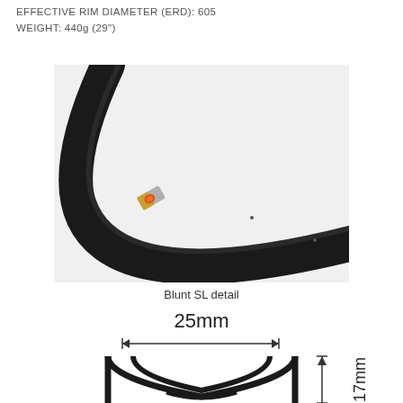EFFECTIVE RIM DIAMETER (ERD): 605
WEIGHT: 440g (29")
[Figure (photo): Close-up photo of a black bicycle rim (Blunt SL) showing the curved rim profile with a small logo/sticker detail on the surface, against a light background.]
Blunt SL detail
[Figure (engineering-diagram): Cross-section engineering diagram of bicycle rim showing 25mm internal width with double-headed arrow, and 17mm depth measurement indicated with an upward arrow on the right side. The rim cross-section shows a U-shaped profile with internal structure.]